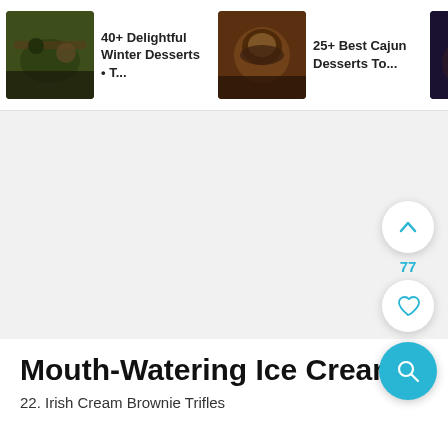[Figure (screenshot): Navigation thumbnail: food image of winter desserts]
40+ Delightful Winter Desserts • T...
[Figure (screenshot): Navigation thumbnail: food image of cajun desserts]
25+ Best Cajun Desserts To...
[Figure (screenshot): Navigation thumbnail: food image of cherry desserts]
25 Easy Cherry Desserts T
[Figure (screenshot): Main content area with light gray background, floating UI buttons on the right side: an upward chevron button, a heart/like button, and a teal search button]
Mouth-Watering Ice Creams
22. Irish Cream Brownie Trifles